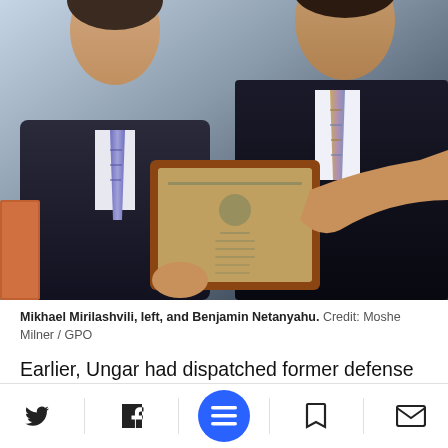[Figure (photo): Photo of two men in dark suits holding a plaque/award. Left person has a blue/purple striped tie. Right person has a gold/blue striped tie. Background is light blue-grey.]
Mikhael Mirilashvili, left, and Benjamin Netanyahu.  Credit: Moshe Milner / GPO
Earlier, Ungar had dispatched former defense officials to Halevi in an appeal to convince him to change sides and testify on his behalf. One of the emissaries was Co  In March 2013
[Figure (screenshot): Mobile toolbar with Twitter, Facebook, menu (blue circle), bookmark, and email icons]